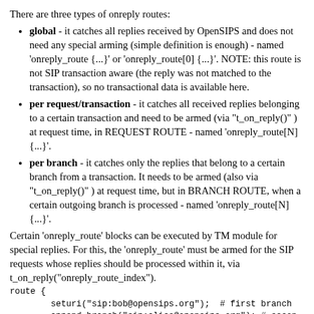There are three types of onreply routes:
global - it catches all replies received by OpenSIPS and does not need any special arming (simple definition is enough) - named 'onreply_route {...}' or 'onreply_route[0] {...}'. NOTE: this route is not SIP transaction aware (the reply was not matched to the transaction), so no transactional data is available here.
per request/transaction - it catches all received replies belonging to a certain transaction and need to be armed (via "t_on_reply()" ) at request time, in REQUEST ROUTE - named 'onreply_route[N] {...}'.
per branch - it catches only the replies that belong to a certain branch from a transaction. It needs to be armed (also via "t_on_reply()" ) at request time, but in BRANCH ROUTE, when a certain outgoing branch is processed - named 'onreply_route[N] {...}'.
Certain 'onreply_route' blocks can be executed by TM module for special replies. For this, the 'onreply_route' must be armed for the SIP requests whose replies should be processed within it, via t_on_reply("onreply_route_index").
route {
        seturi("sip:bob@opensips.org");  # first branch
        append_branch("sip:alice@opensips.org"); # secon

        t_on_reply("global"); # the "global" reply route
                              # is set the whole transact